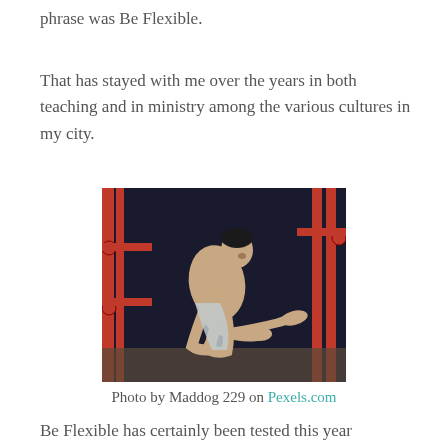phrase was Be Flexible.
That has stayed with me over the years in both teaching and in ministry among the various cultures in my city.
[Figure (photo): A shirtless man performing an advanced yoga or flexibility pose, squatting and holding one leg extended forward while bending forward, in front of red gym equipment against a dark background.]
Photo by Maddog 229 on Pexels.com
Be Flexible has certainly been tested this year